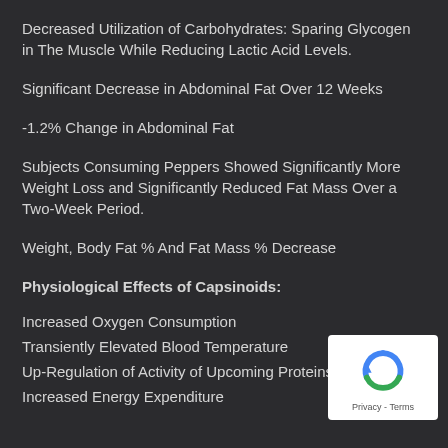Decreased Utilization of Carbohydrates: Sparing Glycogen in The Muscle While Reducing Lactic Acid Levels.
Significant Decrease in Abdominal Fat Over 12 Weeks
-1.2% Change in Abdominal Fat
Subjects Consuming Peppers Showed Significantly More Weight Loss and Significantly Reduced Fat Mass Over a Two-Week Period.
Weight, Body Fat % And Fat Mass % Decrease
Physiological Effects of Capsinoids:
Increased Oxygen Consumption
Transiently Elevated Blood Temperature
Up-Regulation of Activity of Upcoming Proteins
Increased Energy Expenditure